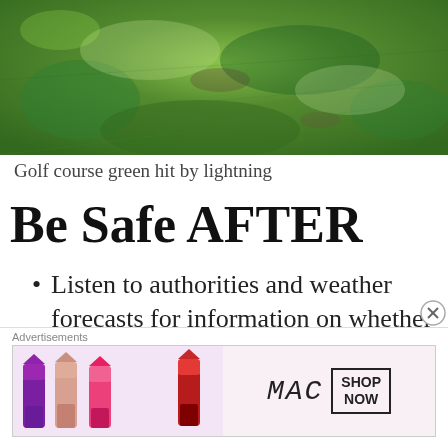[Figure (photo): Close-up photo of golf course green grass, lush green turf with slight browning patches, viewed from above.]
Golf course green hit by lightning
Be Safe AFTER
Listen to authorities and weather forecasts for information on whether it is safe to go outside and
[Figure (advertisement): MAC cosmetics advertisement showing colorful lipsticks on left with MAC logo and SHOP NOW button on right.]